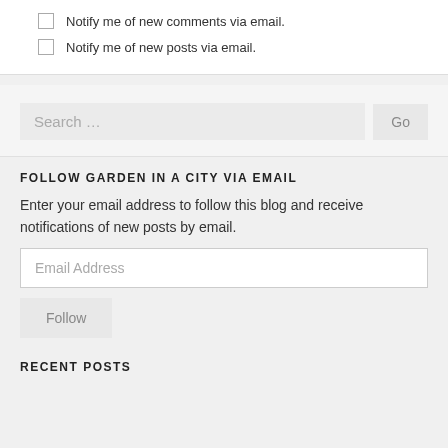Notify me of new comments via email.
Notify me of new posts via email.
Search …
FOLLOW GARDEN IN A CITY VIA EMAIL
Enter your email address to follow this blog and receive notifications of new posts by email.
Email Address
Follow
RECENT POSTS